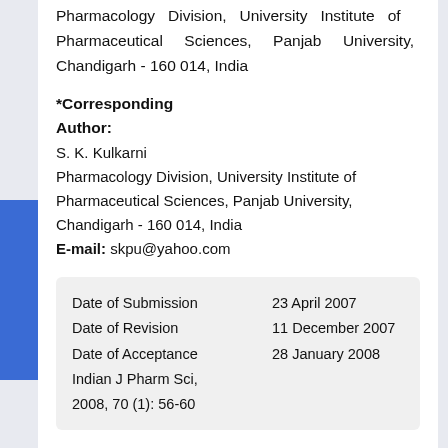Pharmacology Division, University Institute of Pharmaceutical Sciences, Panjab University, Chandigarh - 160 014, India
*Corresponding Author:
S. K. Kulkarni
Pharmacology Division, University Institute of Pharmaceutical Sciences, Panjab University, Chandigarh - 160 014, India
E-mail: skpu@yahoo.com
| Date of Submission | 23 April 2007 |
| Date of Revision | 11 December 2007 |
| Date of Acceptance | 28 January 2008 |
| Indian J Pharm Sci, 2008, 70 (1): 56-60 |  |